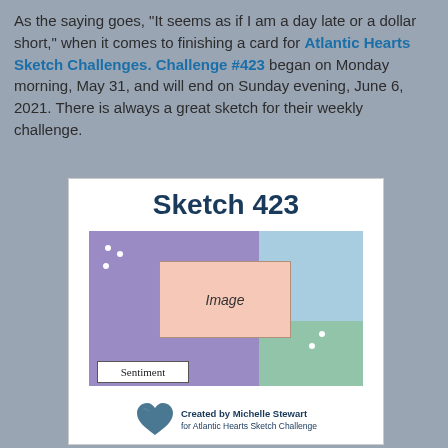As the saying goes, "It seems as if I am a day late or a dollar short," when it comes to finishing a card for Atlantic Hearts Sketch Challenges. Challenge #423 began on Monday morning, May 31, and will end on Sunday evening, June 6, 2021. There is always a great sketch for their weekly challenge.
[Figure (illustration): A card sketch template labeled 'Sketch 423' showing a layout with a purple rectangle on the left, a blue rectangle top-right, a green rectangle bottom-right, a pink 'Image' box in the center, a 'Sentiment' label box bottom-left, decorative dots, and a footer with a heart logo and 'Created by Michelle Stewart for Atlantic Hearts Sketch Challenge'.]